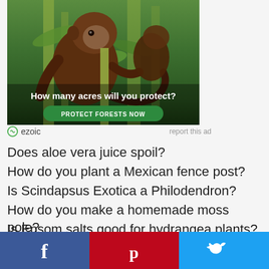[Figure (photo): Advertisement showing monkeys in Amazon rainforest with text 'How many acres will you protect?' and a green 'PROTECT FORESTS NOW' button]
ezoic   report this ad
Does aloe vera juice spoil?
How do you plant a Mexican fence post?
Is Scindapsus Exotica a Philodendron?
How do you make a homemade moss pole?
Is Epsom salts good for hydrangea plants?
[Figure (infographic): Social share bar with Facebook (blue), Pinterest (red), and Twitter (light blue) buttons]